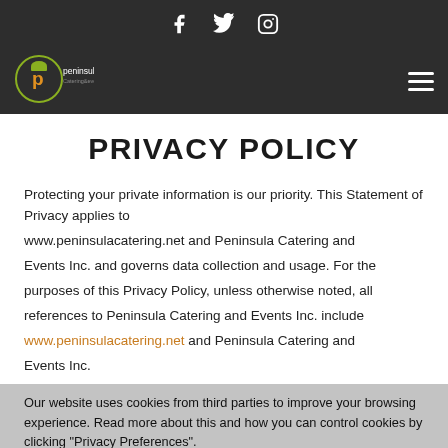Social icons: Facebook, Twitter, Instagram
[Figure (logo): Peninsula Catering & Events logo — circular emblem with stylized 'p' and chef hat, with text 'peninsula CateringAevents']
PRIVACY POLICY
Protecting your private information is our priority. This Statement of Privacy applies to www.peninsulacatering.net and Peninsula Catering and Events Inc. and governs data collection and usage. For the purposes of this Privacy Policy, unless otherwise noted, all references to Peninsula Catering and Events Inc. include www.peninsulacatering.net and Peninsula Catering and Events Inc.
Our website uses cookies from third parties to improve your browsing experience. Read more about this and how you can control cookies by clicking "Privacy Preferences".